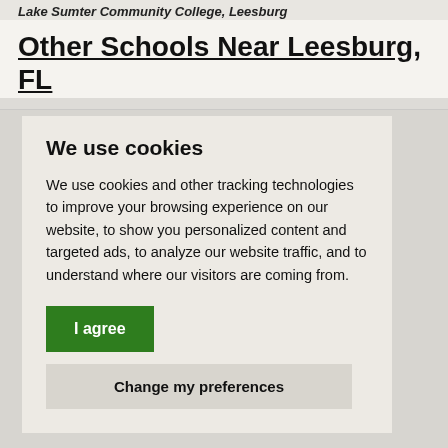Lake Sumter Community College, Leesburg
Other Schools Near Leesburg, FL
We use cookies
We use cookies and other tracking technologies to improve your browsing experience on our website, to show you personalized content and targeted ads, to analyze our website traffic, and to understand where our visitors are coming from.
I agree
Change my preferences